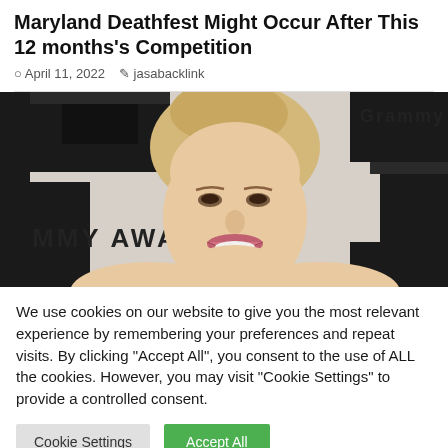Maryland Deathfest Might Occur After This 12 months's Competition
April 11, 2022   jasabacklink
[Figure (photo): Blonde woman with upswept hair smiling at Grammy Awards event, Grammy Awards backdrop visible behind her]
We use cookies on our website to give you the most relevant experience by remembering your preferences and repeat visits. By clicking "Accept All", you consent to the use of ALL the cookies. However, you may visit "Cookie Settings" to provide a controlled consent.